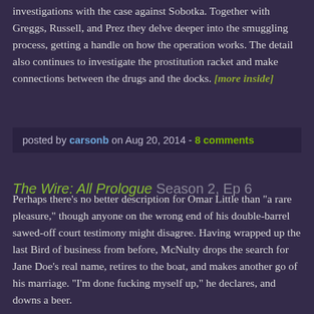investigations with the case against Sobotka. Together with Greggs, Russell, and Prez they delve deeper into the smuggling process, getting a handle on how the operation works. The detail also continues to investigate the prostitution racket and make connections between the drugs and the docks. [more inside]
posted by carsonb on Aug 20, 2014 - 8 comments
The Wire: All Prologue  Season 2, Ep 6
Perhaps there's no better description for Omar Little than "a rare pleasure," though anyone on the wrong end of his double-barrel sawed-off court testimony might disagree. Having wrapped up the last Bird of business from before, McNulty drops the search for Jane Doe's real name, retires to the boat, and makes another go of his marriage. "I'm done fucking myself up," he declares, and downs a beer.